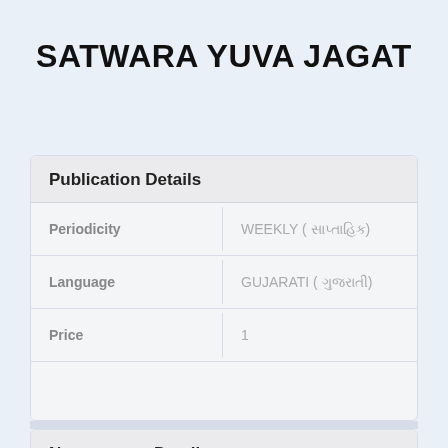SATWARA YUVA JAGAT
Publication Details
| Field | Value |
| --- | --- |
| Periodicity | WEEKLY ( સાપ્તાહિક) |
| Language | GUJARATI ( ગુજરાતી) |
| Price | 1 |
Newspapers Details
| Field | Value |
| --- | --- |
| RNI No. | 69479/98 |
| State | GUJARAT |